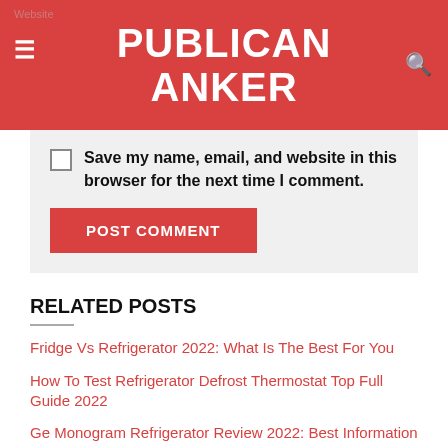PUBLICAN ANKER
Save my name, email, and website in this browser for the next time I comment.
POST COMMENT
RELATED POSTS
Fridge Vs Refrigerator 2022: What Is The Best For You
How To Test Refrigerator Defrost Thermostat Top Full Guide 2022
Ge Monogram Refrigerator Review 2022: Best Information For You